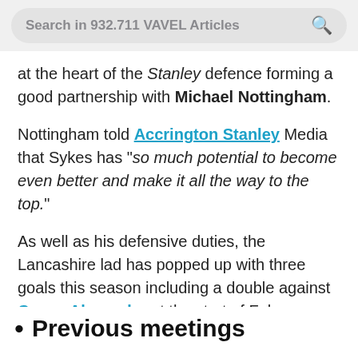Search in 932.711 VAVEL Articles
at the heart of the Stanley defence forming a good partnership with Michael Nottingham.
Nottingham told Accrington Stanley Media that Sykes has “so much potential to become even better and make it all the way to the top.”
As well as his defensive duties, the Lancashire lad has popped up with three goals this season including a double against Crewe Alexandra at the start of February.
Previous meetings